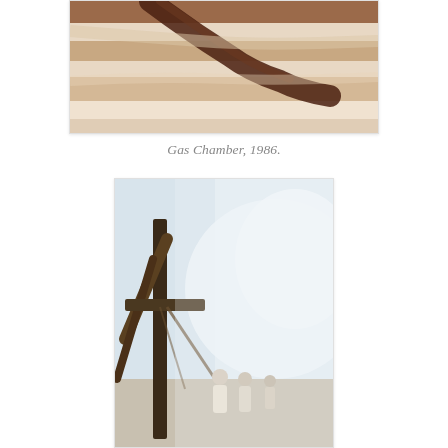[Figure (illustration): Top portion of a painting showing abstract horizontal striped forms in brown, tan, and cream tones — cropped view of the painting 'Gas Chamber', 1986.]
Gas Chamber, 1986.
[Figure (illustration): Lower painting showing a hazy, washed-out scene with figures in white and a large dark cross/scaffolding structure on the left side, against a pale blue-grey sky — likely another detail from 'Gas Chamber', 1986.]